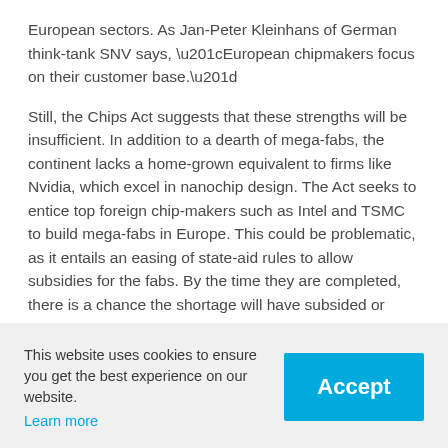European sectors. As Jan-Peter Kleinhans of German think-tank SNV says, “European chipmakers focus on their customer base.”
Still, the Chips Act suggests that these strengths will be insufficient. In addition to a dearth of mega-fabs, the continent lacks a home-grown equivalent to firms like Nvidia, which excel in nanochip design. The Act seeks to entice top foreign chip-makers such as Intel and TSMC to build mega-fabs in Europe. This could be problematic, as it entails an easing of state-aid rules to allow subsidies for the fabs. By the time they are completed, there is a chance the shortage will have subsided or become a surplus.
Behind the proposed strategies is a keen sense of urgency:
This website uses cookies to ensure you get the best experience on our website. Learn more